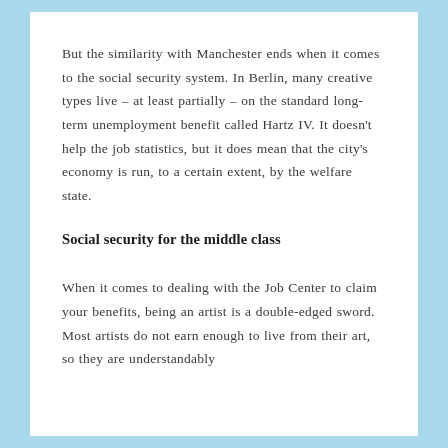But the similarity with Manchester ends when it comes to the social security system. In Berlin, many creative types live – at least partially – on the standard long-term unemployment benefit called Hartz IV. It doesn't help the job statistics, but it does mean that the city's economy is run, to a certain extent, by the welfare state.
Social security for the middle class
When it comes to dealing with the Job Center to claim your benefits, being an artist is a double-edged sword. Most artists do not earn enough to live from their art, so they are understandably